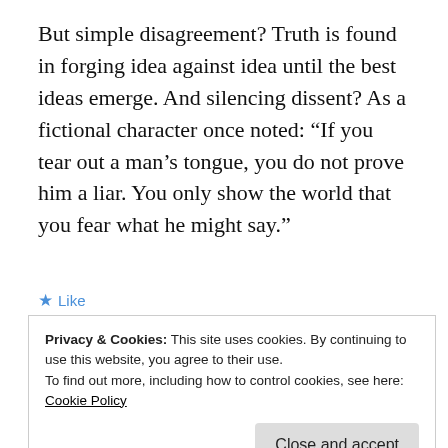But simple disagreement? Truth is found in forging idea against idea until the best ideas emerge. And silencing dissent? As a fictional character once noted: “If you tear out a man’s tongue, you do not prove him a liar. You only show the world that you fear what he might say.”
Privacy & Cookies: This site uses cookies. By continuing to use this website, you agree to their use.
To find out more, including how to control cookies, see here:
Cookie Policy
Close and accept
Snorri Goani